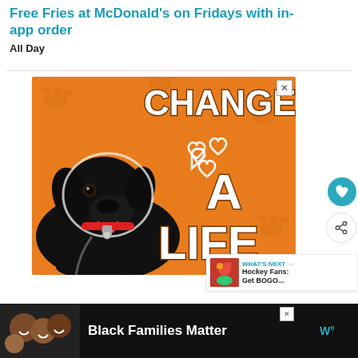Free Fries at McDonald's on Fridays with in-app order
All Day
[Figure (illustration): Advertisement banner with orange background showing a black Labrador dog and text reading 'CHANGE A LIFE' with heart outlines]
WHAT'S NEXT → Hockey Fans: Get BOGO...
[Figure (photo): Bottom banner advertisement showing smiling Black family with text 'Black Families Matter' and a logo on dark background]